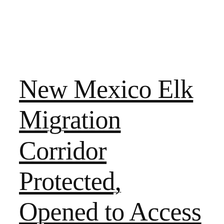New Mexico Elk Migration Corridor Protected, Opened to Access